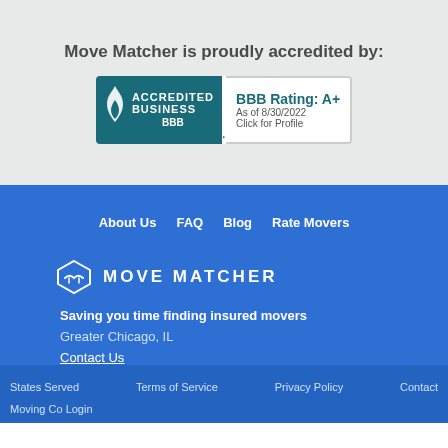Move Matcher is proudly accredited by:
[Figure (logo): BBB Accredited Business badge with A+ rating, as of 8/30/2022, Click for Profile]
About Us
FAQ
Blog
Rate Movers
[Figure (logo): Move Matcher logo - box icon with handshake and company name]
Saving you time finding insured movers
Greater Chicago, IL
Contact Us
States Served
Terms of Service
Privacy Policy
Contact
Moving Co Login